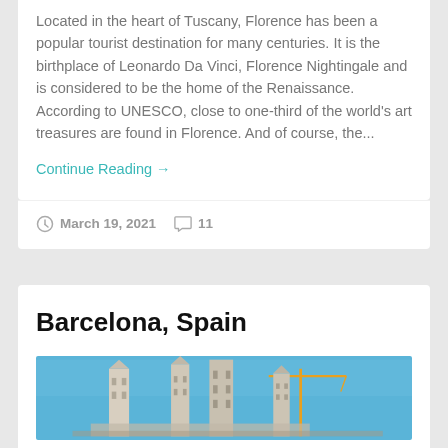Located in the heart of Tuscany, Florence has been a popular tourist destination for many centuries. It is the birthplace of Leonardo Da Vinci, Florence Nightingale and is considered to be the home of the Renaissance. According to UNESCO, close to one-third of the world's art treasures are found in Florence. And of course, the...
Continue Reading →
March 19, 2021   11
Barcelona, Spain
[Figure (photo): Photo of Barcelona architecture, likely Sagrada Familia, against a blue sky with cranes visible]